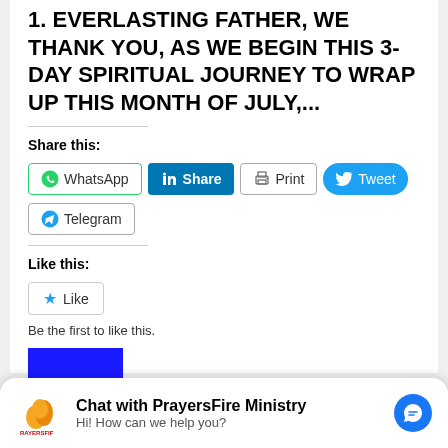1. EVERLASTING FATHER, WE THANK YOU, AS WE BEGIN THIS 3-DAY SPIRITUAL JOURNEY TO WRAP UP THIS MONTH OF JULY,...
Share this:
[Figure (screenshot): Social share buttons: WhatsApp, LinkedIn Share, Print, Tweet, Telegram]
Like this:
[Figure (screenshot): Like button with star icon. Text: Be the first to like this.]
[Figure (other): Blue square box with number 10]
[Figure (screenshot): Chat widget: Chat with PrayersFire Ministry. Hi! How can we help you? With Messenger icon.]